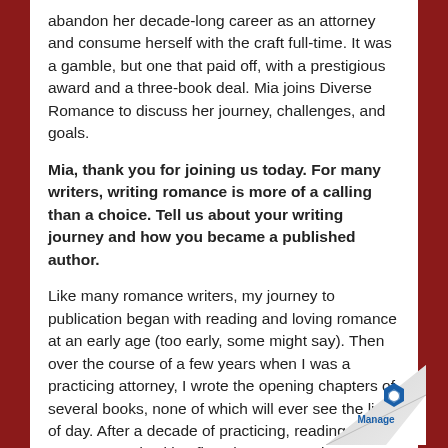abandon her decade-long career as an attorney and consume herself with the craft full-time. It was a gamble, but one that paid off, with a prestigious award and a three-book deal. Mia joins Diverse Romance to discuss her journey, challenges, and goals.
Mia, thank you for joining us today. For many writers, writing romance is more of a calling than a choice. Tell us about your writing journey and how you became a published author.
Like many romance writers, my journey to publication began with reading and loving romance at an early age (too early, some might say). Then over the course of a few years when I was a practicing attorney, I wrote the opening chapters of several books, none of which will ever see the light of day. After a decade of practicing, reading romance, and writing first chapters, I switched gears to write full-time in 2013. At first, it was a solo venture. I read craft books, learned about the
[Figure (illustration): Page curl effect with Manage logo in bottom right corner]